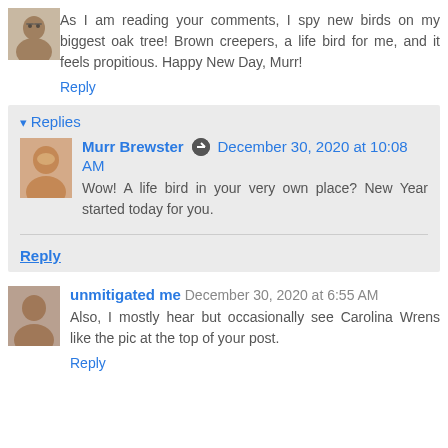[Figure (photo): Small avatar photo of a person with glasses]
As I am reading your comments, I spy new birds on my biggest oak tree! Brown creepers, a life bird for me, and it feels propitious. Happy New Day, Murr!
Reply
Replies
[Figure (photo): Small avatar photo of Murr Brewster]
Murr Brewster December 30, 2020 at 10:08 AM
Wow! A life bird in your very own place? New Year started today for you.
Reply
[Figure (photo): Small avatar photo of unmitigated me]
unmitigated me December 30, 2020 at 6:55 AM
Also, I mostly hear but occasionally see Carolina Wrens like the pic at the top of your post.
Reply